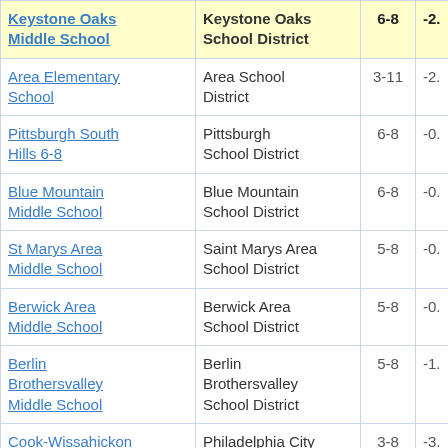| School | District | Grades | Score |
| --- | --- | --- | --- |
| Keystone Oaks Middle School | Keystone Oaks School District | 6-8 | -2. |
| Area Elementary School | Area School District | 3-11 | -2. |
| Pittsburgh South Hills 6-8 | Pittsburgh School District | 6-8 | -0. |
| Blue Mountain Middle School | Blue Mountain School District | 6-8 | -0. |
| St Marys Area Middle School | Saint Marys Area School District | 5-8 | -0. |
| Berwick Area Middle School | Berwick Area School District | 5-8 | -0. |
| Berlin Brothersvalley Middle School | Berlin Brothersvalley School District | 5-8 | -1. |
| Cook-Wissahickon School | Philadelphia City School District | 3-8 | -3. |
| Northern Lehigh | Northern Lehigh |  |  |